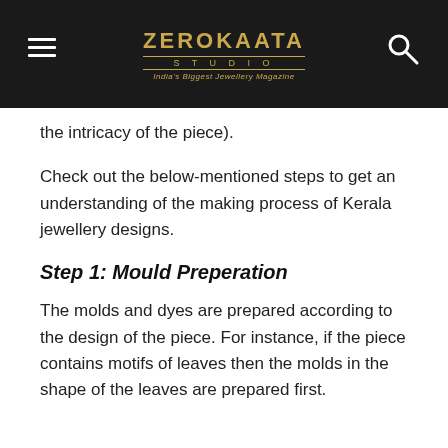ZEROKAATA STUDIO — India's Biggest Jewellery Magazine
the intricacy of the piece).
Check out the below-mentioned steps to get an understanding of the making process of Kerala jewellery designs.
Step 1: Mould Preperation
The molds and dyes are prepared according to the design of the piece. For instance, if the piece contains motifs of leaves then the molds in the shape of the leaves are prepared first.